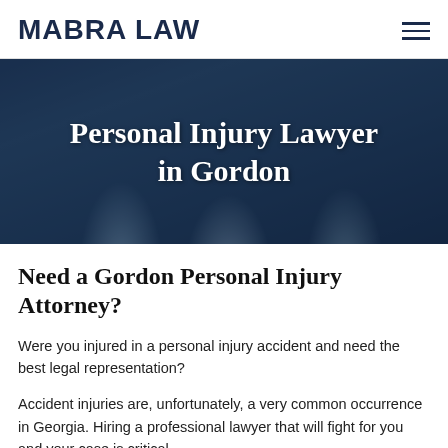MABRA LAW
[Figure (photo): Background photo of lawyers in an office with dark blue overlay, showing a woman and two men in professional attire]
Personal Injury Lawyer in Gordon
Need a Gordon Personal Injury Attorney?
Were you injured in a personal injury accident and need the best legal representation?
Accident injuries are, unfortunately, a very common occurrence in Georgia. Hiring a professional lawyer that will fight for you and your case is critical.